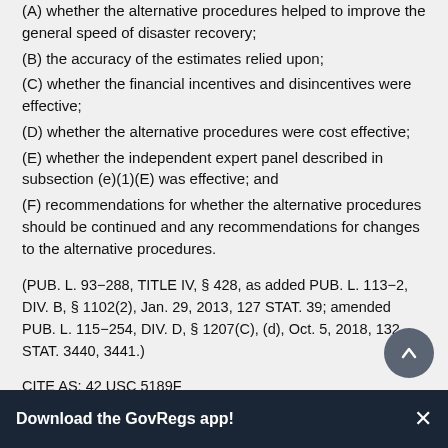(A) whether the alternative procedures helped to improve the general speed of disaster recovery;
(B) the accuracy of the estimates relied upon;
(C) whether the financial incentives and disincentives were effective;
(D) whether the alternative procedures were cost effective;
(E) whether the independent expert panel described in subsection (e)(1)(E) was effective; and
(F) recommendations for whether the alternative procedures should be continued and any recommendations for changes to the alternative procedures.
(PUB. L. 93-288, TITLE IV, § 428, as added PUB. L. 113-2, DIV. B, § 1102(2), Jan. 29, 2013, 127 STAT. 39; amended PUB. L. 115-254, DIV. D, § 1207(C), (d), Oct. 5, 2018, 132 STAT. 3440, 3441.)
CITE AS: 42 USC 5189F
§ 5189g.  Unified Federal review